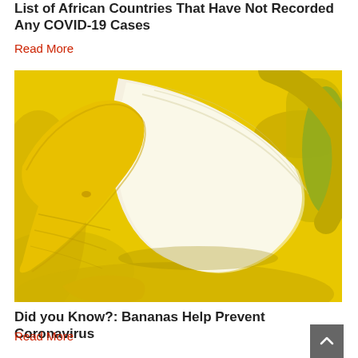List of African Countries That Have Not Recorded Any COVID-19 Cases
Read More
[Figure (photo): Close-up photo of a peeled banana surrounded by other yellow bananas]
Did you Know?: Bananas Help Prevent Coronavirus
Read More